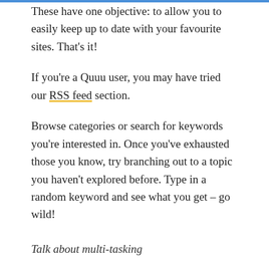These have one objective: to allow you to easily keep up to date with your favourite sites. That's it!
If you're a Quuu user, you may have tried our RSS feed section.
Browse categories or search for keywords you're interested in. Once you've exhausted those you know, try branching out to a topic you haven't explored before. Type in a random keyword and see what you get – go wild!
Talk about multi-tasking